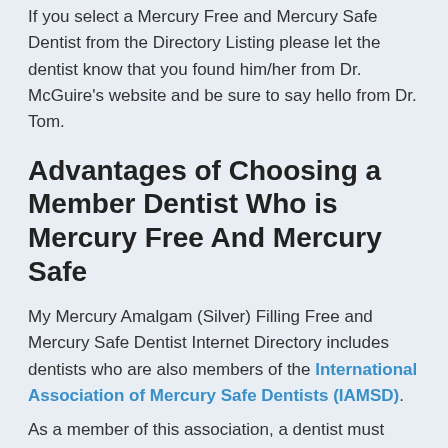If you select a Mercury Free and Mercury Safe Dentist from the Directory Listing please let the dentist know that you found him/her from Dr. McGuire's website and be sure to say hello from Dr. Tom.
Advantages of Choosing a Member Dentist Who is Mercury Free And Mercury Safe
My Mercury Amalgam (Silver) Filling Free and Mercury Safe Dentist Internet Directory includes dentists who are also members of the International Association of Mercury Safe Dentists (IAMSD).
A truncated line of text continues below...